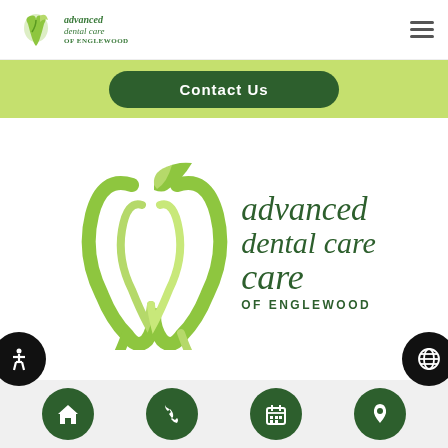[Figure (logo): Advanced Dental Care of Englewood small logo in header]
Contact Us
[Figure (logo): Advanced Dental Care of Englewood large logo with green tooth icon]
https://www.miksadental.com
Our location (partially visible)
Bottom navigation bar with home, phone, calendar, and location icons; accessibility and globe side buttons